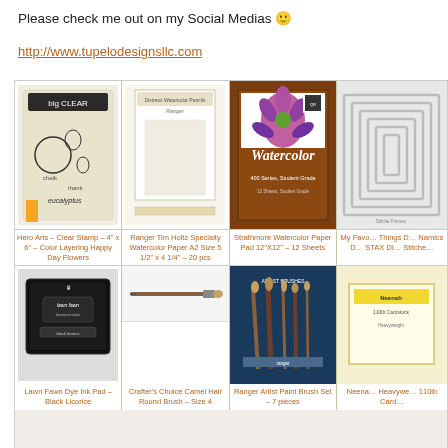Please check me out on my Social Medias 🙂
http://www.tupelodesignsllc.com
[Figure (screenshot): Product grid showing craft supplies including stamps, watercolor paper, ink pads, brushes and dies]
Hero Arts – Clear Stamp – 4" x 6" – Color Layering Happy Day Flowers
Ranger Tim Holtz Specialty Watercolor Paper A2 Size 5 1/2" x 4 1/4" – 20 pcs
Strathmore Watercolor Paper Pad 12"X12" – 12 Sheets
My Favorite Things Dy-Namics STAX Die-Stitche…
Lawn Fawn Dye Ink Pad – Black Licorice
Crafter's Choice Camel Hair Round Brush – Size 4
Ranger Artist Paint Brush Set – 7 pieces
Neenah Heavywe… 110lb Card…